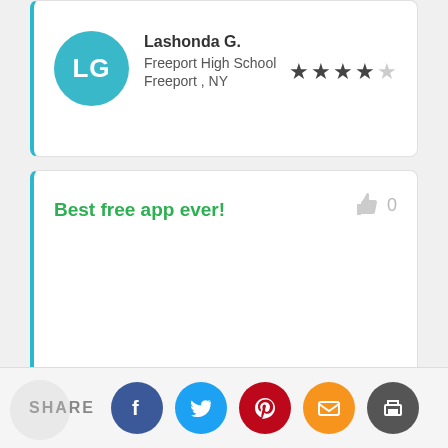[Figure (other): User review card with teal avatar circle showing initials LG, user name Lashonda G., school Freeport High School, location Freeport, NY, and 4-star rating out of 5]
Best free app ever!
[Figure (other): Share bar at bottom with SHARE label and social media icon buttons: Facebook (blue), Twitter (light blue), Pinterest (red), Email (orange), Print (dark gray)]